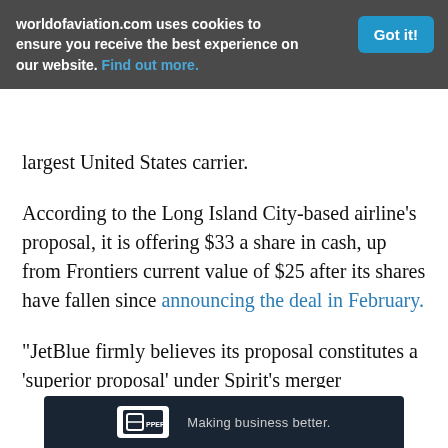worldofaviation.com uses cookies to ensure you receive the best experience on our website. Find out more. Got it!
largest United States carrier.
According to the Long Island City-based airline’s proposal, it is offering $33 a share in cash, up from Frontiers current value of $25 after its shares have fallen since announcing the deal in February.
“JetBlue firmly believes its proposal constitutes a ‘superior proposal’ under Spirit’s merger agreement with Frontier and represents the most attractive opportunity for Spirit’s shareholders,” the carrier said on Tue
Making business better.